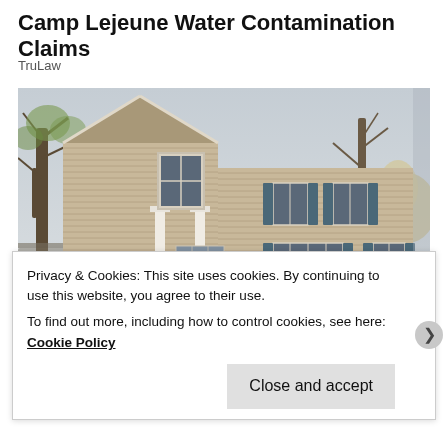Camp Lejeune Water Contamination Claims
TruLaw
[Figure (photo): Two-story residential house with tan/beige horizontal siding, white front door with transom window, white columns, blue shutters on windows, evergreen shrubs flanking the entrance, bare deciduous tree on the left, overcast sky in background.]
Privacy & Cookies: This site uses cookies. By continuing to use this website, you agree to their use.
To find out more, including how to control cookies, see here: Cookie Policy
Close and accept